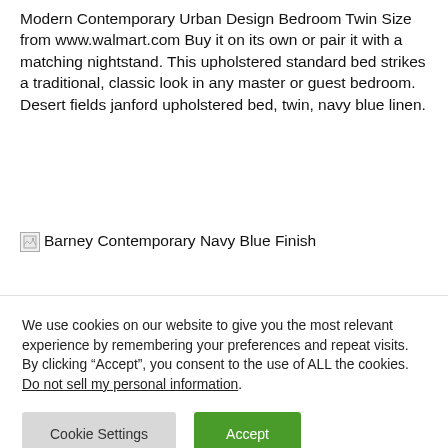Modern Contemporary Urban Design Bedroom Twin Size from www.walmart.com Buy it on its own or pair it with a matching nightstand. This upholstered standard bed strikes a traditional, classic look in any master or guest bedroom. Desert fields janford upholstered bed, twin, navy blue linen.
[Figure (photo): Broken image placeholder with alt text: Barney Contemporary Navy Blue Finish]
We use cookies on our website to give you the most relevant experience by remembering your preferences and repeat visits. By clicking “Accept”, you consent to the use of ALL the cookies. Do not sell my personal information.